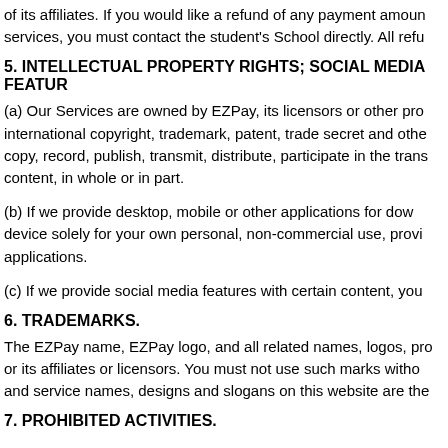of its affiliates. If you would like a refund of any payment amoun services, you must contact the student's School directly. All refu
5. INTELLECTUAL PROPERTY RIGHTS; SOCIAL MEDIA FEATUR
(a) Our Services are owned by EZPay, its licensors or other pro international copyright, trademark, patent, trade secret and othe copy, record, publish, transmit, distribute, participate in the trans content, in whole or in part.
(b) If we provide desktop, mobile or other applications for dow device solely for your own personal, non-commercial use, provi applications.
(c) If we provide social media features with certain content, you
6. TRADEMARKS.
The EZPay name, EZPay logo, and all related names, logos, pro or its affiliates or licensors. You must not use such marks witho and service names, designs and slogans on this website are the
7. PROHIBITED ACTIVITIES.